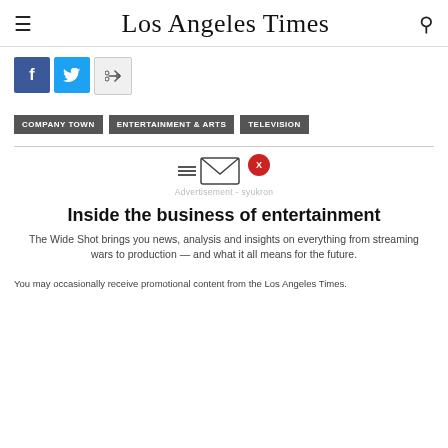Los Angeles Times
COMPANY TOWN   ENTERTAINMENT & ARTS   TELEVISION
[Figure (other): Newsletter signup popup with envelope icon, advertisement label, close X button, title 'Inside the business of entertainment', and description text]
Inside the business of entertainment
The Wide Shot brings you news, analysis and insights on everything from streaming wars to production — and what it all means for the future.
You may occasionally receive promotional content from the Los Angeles Times.